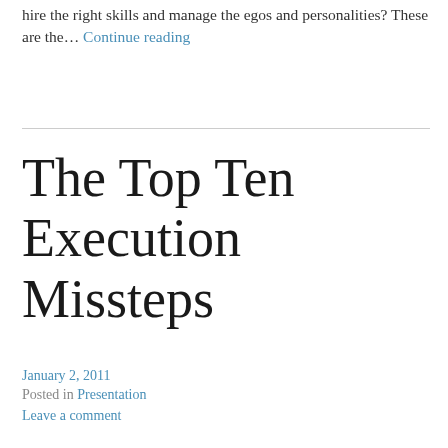hire the right skills and manage the egos and personalities? These are the… Continue reading
The Top Ten Execution Missteps
January 2, 2011
Posted in Presentation
Leave a comment